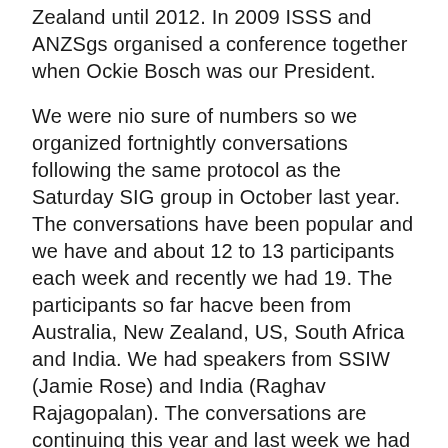Zealand until 2012. In 2009 ISSS and ANZSgs organised a conference together when Ockie Bosch was our President.
We were nio sure of numbers so we organized fortnightly conversations following the same protocol as the Saturday SIG group in October last year. The conversations have been popular and we have and about 12 to 13 participants each week and recently we had 19. The participants so far hacve been from Australia, New Zealand, US, South Africa and India. We had speakers from SSIW (Jamie Rose) and India (Raghav Rajagopalan). The conversations are continuing this year and last week we had ISSS President Delia MacNamara engage in a very interesting conversation about Artificial Intelligence.